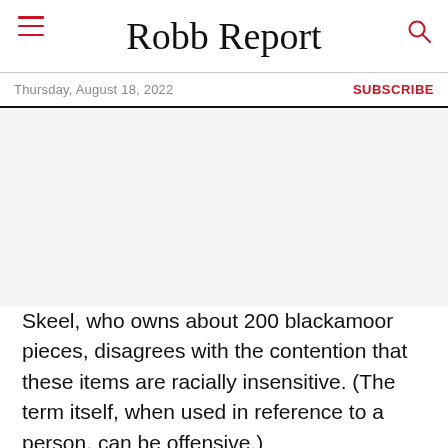Robb Report
Thursday, August 18, 2022 | SUBSCRIBE
[Figure (photo): Large image area (appears blank/white in this rendering)]
Skeel, who owns about 200 blackamoor pieces, disagrees with the contention that these items are racially insensitive. (The term itself, when used in reference to a person, can be offensive.)